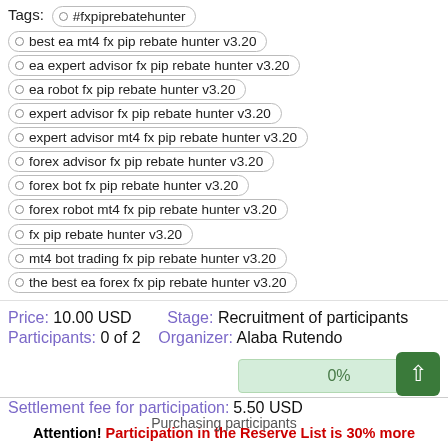Tags: #fxpiprebatehunter  best ea mt4 fx pip rebate hunter v3.20  ea expert advisor fx pip rebate hunter v3.20  ea robot fx pip rebate hunter v3.20  expert advisor fx pip rebate hunter v3.20  expert advisor mt4 fx pip rebate hunter v3.20  forex advisor fx pip rebate hunter v3.20  forex bot fx pip rebate hunter v3.20  forex robot mt4 fx pip rebate hunter v3.20  fx pip rebate hunter v3.20  mt4 bot trading fx pip rebate hunter v3.20  the best ea forex fx pip rebate hunter v3.20
Price: 10.00 USD    Stage: Recruitment of participants
Participants: 0 of 2    Organizer: Alaba Rutendo
[Figure (other): Progress bar showing 0%]
Settlement fee for participation: 5.50 USD
Attention! Participation in the Reserve List is 30% more expensive, participation in the Additional List is 50% more expensive. The cost of Anonymous participation in any list is 1$.